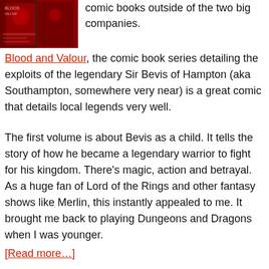[Figure (photo): Cover of a comic book with red and dark tones, showing figures and text.]
comic books outside of the two big companies.
Blood and Valour, the comic book series detailing the exploits of the legendary Sir Bevis of Hampton (aka Southampton, somewhere very near) is a great comic that details local legends very well.
The first volume is about Bevis as a child. It tells the story of how he became a legendary warrior to fight for his kingdom. There’s magic, action and betrayal. As a huge fan of Lord of the Rings and other fantasy shows like Merlin, this instantly appealed to me. It brought me back to playing Dungeons and Dragons when I was younger.
[Read more...]